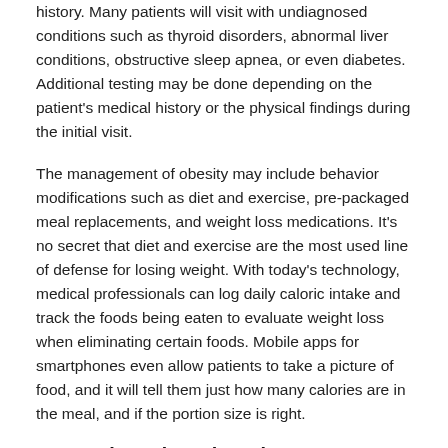history. Many patients will visit with undiagnosed conditions such as thyroid disorders, abnormal liver conditions, obstructive sleep apnea, or even diabetes. Additional testing may be done depending on the patient's medical history or the physical findings during the initial visit.
The management of obesity may include behavior modifications such as diet and exercise, pre-packaged meal replacements, and weight loss medications. It's no secret that diet and exercise are the most used line of defense for losing weight. With today's technology, medical professionals can log daily caloric intake and track the foods being eaten to evaluate weight loss when eliminating certain foods. Mobile apps for smartphones even allow patients to take a picture of food, and it will tell them just how many calories are in the meal, and if the portion size is right.
Pre-packaged Meal Replacements
This medically-supervised weight management tool works by helping overweight and obese patients to transition to healthy